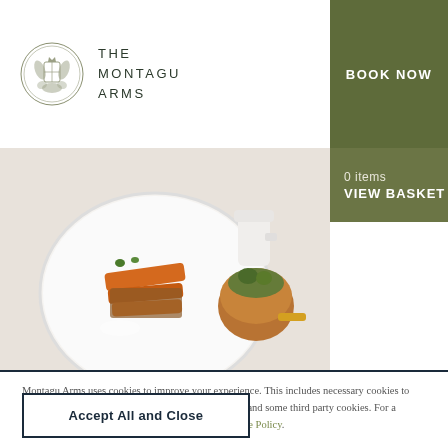[Figure (logo): The Montagu Arms crest/emblem logo - ornate heraldic emblem with foliage]
THE MONTAGU ARMS
[Figure (other): Hamburger menu icon - three horizontal lines]
[Figure (other): BOOK NOW button - olive/dark green background]
0 items
VIEW BASKET
[Figure (photo): Food photography showing an elegantly plated dish with roasted carrots and other elements on a white plate, with a small copper pot of garnish and a white jug in the background]
Montagu Arms uses cookies to improve your experience. This includes necessary cookies to interact with the website, anonymous analytical data, and some third party cookies. For a complete list and further options please see our Cookie Policy.
Accept All and Close